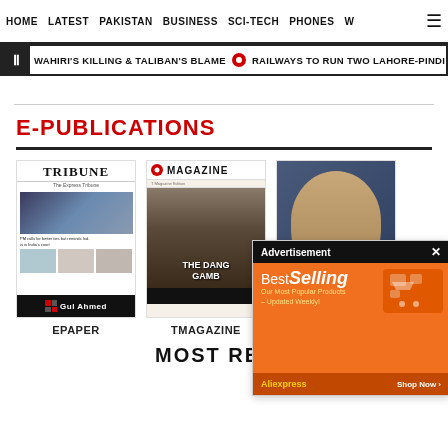HOME  LATEST  PAKISTAN  BUSINESS  SCI-TECH  PHONES  W
WAHIRI'S KILLING & TALIBAN'S BLAME  🔴  RAILWAYS TO RUN TWO LAHORE-PINDI S
E-PUBLICATIONS
[Figure (screenshot): Tribune newspaper ePaper cover thumbnail]
EPAPER
[Figure (screenshot): T Magazine cover thumbnail with headline THE DANGEROUS GAMBLE]
TMAGAZINE
[Figure (screenshot): T.Edit publication cover thumbnail]
T.EDIT
[Figure (screenshot): Advertisement overlay: BestSelling - Our Most Popular Products - Updated Weekly! AliExpress Shop Now]
MOST READ